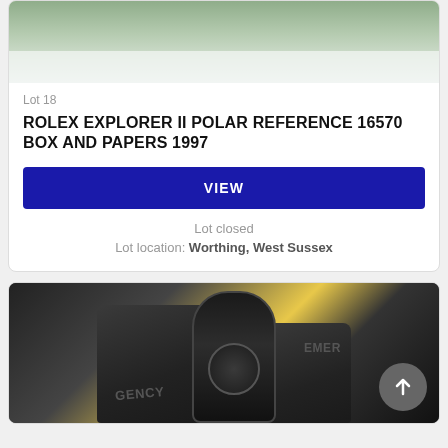[Figure (photo): Top portion of a Rolex watch box with green lid and papers/documents visible underneath]
Lot 18
ROLEX EXPLORER II POLAR REFERENCE 16570 BOX AND PAPERS 1997
VIEW
Lot closed
Lot location: Worthing, West Sussex
[Figure (photo): Audemars Piguet Emergency watch with black rubber strap displayed alongside two dark grey Emergency kit cases on a yellow background with watch papers]